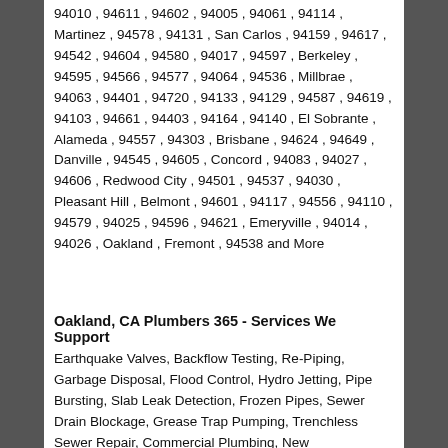94010 , 94611 , 94602 , 94005 , 94061 , 94114 , Martinez , 94578 , 94131 , San Carlos , 94159 , 94617 , 94542 , 94604 , 94580 , 94017 , 94597 , Berkeley , 94595 , 94566 , 94577 , 94064 , 94536 , Millbrae , 94063 , 94401 , 94720 , 94133 , 94129 , 94587 , 94619 , 94103 , 94661 , 94403 , 94164 , 94140 , El Sobrante , Alameda , 94557 , 94303 , Brisbane , 94624 , 94649 , Danville , 94545 , 94605 , Concord , 94083 , 94027 , 94606 , Redwood City , 94501 , 94537 , 94030 , Pleasant Hill , Belmont , 94601 , 94117 , 94556 , 94110 , 94579 , 94025 , 94596 , 94621 , Emeryville , 94014 , 94026 , Oakland , Fremont , 94538 and More
Oakland, CA Plumbers 365 - Services We Support
Earthquake Valves, Backflow Testing, Re-Piping, Garbage Disposal, Flood Control, Hydro Jetting, Pipe Bursting, Slab Leak Detection, Frozen Pipes, Sewer Drain Blockage, Grease Trap Pumping, Trenchless Sewer Repair, Commercial Plumbing, New